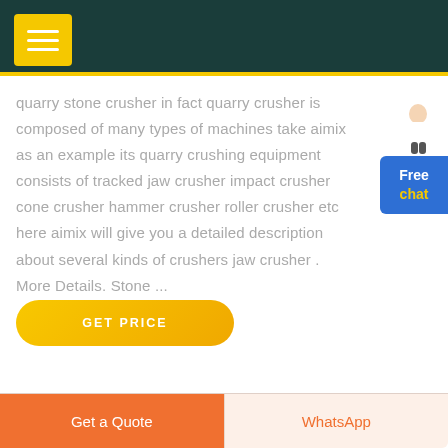quarry stone crusher in fact quarry crusher is composed of many types of machines take aimix as an example its quarry crushing equipment consists of tracked jaw crusher impact crusher cone crusher hammer crusher roller crusher etc here aimix will give you a detailed description about several kinds of crushers jaw crusher . More Details. Stone ...
GET PRICE
Get a Quote | WhatsApp